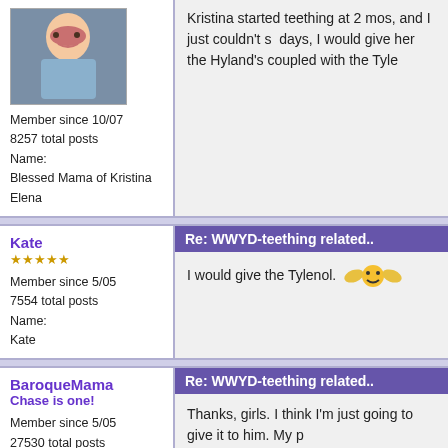[Figure (photo): Profile photo of a young child (toddler girl) in a blue outfit]
Member since 10/07
8257 total posts
Name:
Blessed Mama of Kristina Elena
Kristina started teething at 2 mos, and I just couldn't s... days, I would give her the Hyland's coupled with the Tyle...
Kate
★★★★★
Member since 5/05
7554 total posts
Name:
Kate
Re: WWYD-teething related..
I would give the Tylenol. [smiley emoji]
BaroqueMama
Chase is one!
Member since 5/05
27530 total posts
Name:
me
Re: WWYD-teething related..
Thanks, girls. I think I'm just going to give it to him. My p...
pixie
Re: WWYD-teething related..